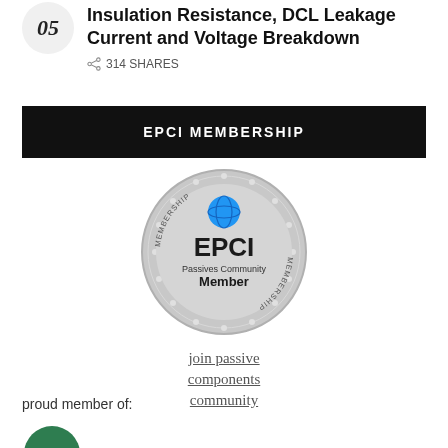Insulation Resistance, DCL Leakage Current and Voltage Breakdown
314 SHARES
EPCI MEMBERSHIP
[Figure (logo): EPCI Passives Community Member silver medal badge with blue globe icon]
join passive components community
proud member of:
[Figure (logo): Green circular badge partially visible at bottom]